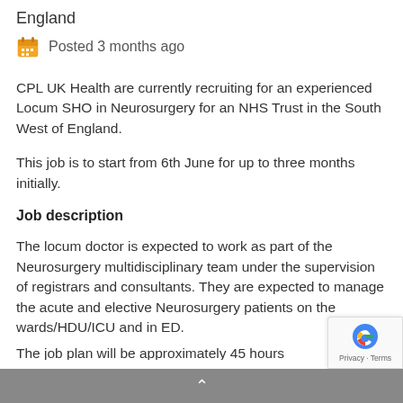England
Posted 3 months ago
CPL UK Health are currently recruiting for an experienced Locum SHO in Neurosurgery for an NHS Trust in the South West of England.
This job is to start from 6th June for up to three months initially.
Job description
The locum doctor is expected to work as part of the Neurosurgery multidisciplinary team under the supervision of registrars and consultants. They are expected to manage the acute and elective Neurosurgery patients on the wards/HDU/ICU and in ED.
The job plan will be approximately 45 hours